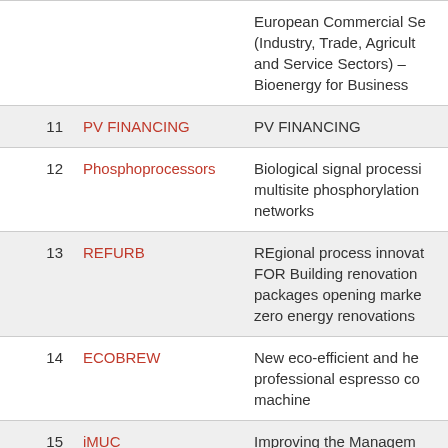| # | Acronym | Full Title |
| --- | --- | --- |
|  |  | European Commercial Se... (Industry, Trade, Agricu... and Service Sectors) – Bioenergy for Business |
| 11 | PV FINANCING | PV FINANCING |
| 12 | Phosphoprocessors | Biological signal processi... multisite phosphorylation... networks |
| 13 | REFURB | REgional process innova... FOR Building renovation ... packages opening marke... zero energy renovations... |
| 14 | ECOBREW | New eco-efficient and he... professional espresso co... machine |
| 15 | iMUC | Improving the Managem... Unexplained Chest-pain... |